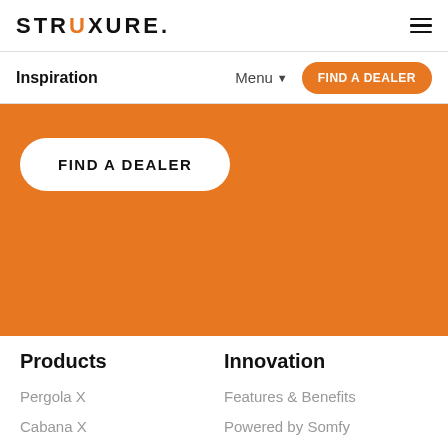STRUXURE. [hamburger menu]
Inspiration   Menu ▾   FIND A DEALER
[Figure (other): Orange background section with a white rounded button labeled FIND A DEALER]
Products
Pergola X
Cabana X
Innovation
Features & Benefits
Powered by Somfy